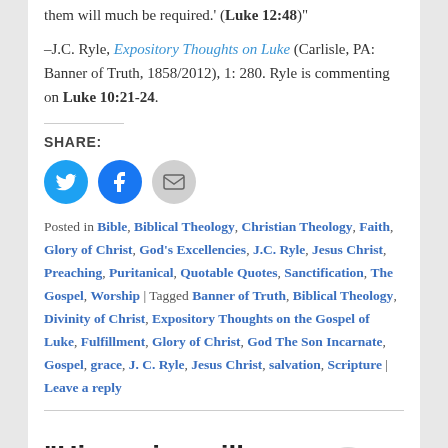them will much be required.' (Luke 12:48)"
–J.C. Ryle, Expository Thoughts on Luke (Carlisle, PA: Banner of Truth, 1858/2012), 1: 280. Ryle is commenting on Luke 10:21-24.
SHARE:
[Figure (other): Twitter, Facebook, and Email share icon buttons]
Posted in Bible, Biblical Theology, Christian Theology, Faith, Glory of Christ, God's Excellencies, J.C. Ryle, Jesus Christ, Preaching, Puritanical, Quotable Quotes, Sanctification, The Gospel, Worship | Tagged Banner of Truth, Biblical Theology, Divinity of Christ, Expository Thoughts on the Gospel of Luke, Fulfillment, Glory of Christ, God The Son Incarnate, Gospel, grace, J. C. Ryle, Jesus Christ, salvation, Scripture | Leave a reply
“His praise will know no end” by Jim Hamilton